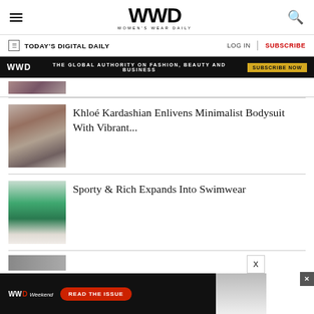WWD — Women's Wear Daily
TODAY'S DIGITAL DAILY   LOG IN   SUBSCRIBE
[Figure (screenshot): WWD ad banner: 'The Global Authority on Fashion, Beauty and Business' with Subscribe Now button]
[Figure (photo): Thumbnail photo of Khloé Kardashian wearing sunglasses and jewelry]
Khloé Kardashian Enlivens Minimalist Bodysuit With Vibrant...
[Figure (photo): Thumbnail photo of model in green swimsuit (Sporty & Rich)]
Sporty & Rich Expands Into Swimwear
[Figure (screenshot): WWD Weekend bottom ad banner: 'Read the Issue']